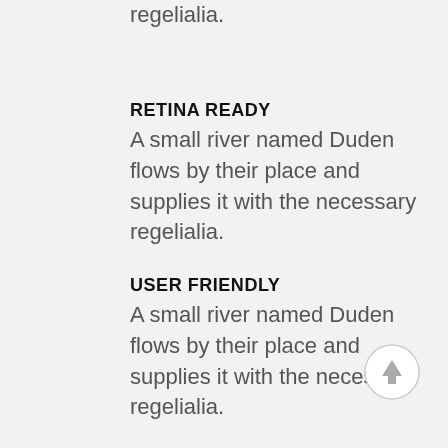regelialia.
RETINA READY
A small river named Duden flows by their place and supplies it with the necessary regelialia.
USER FRIENDLY
A small river named Duden flows by their place and supplies it with the necessary regelialia.
[Figure (illustration): A circular button with an upward arrow icon for scrolling to top]